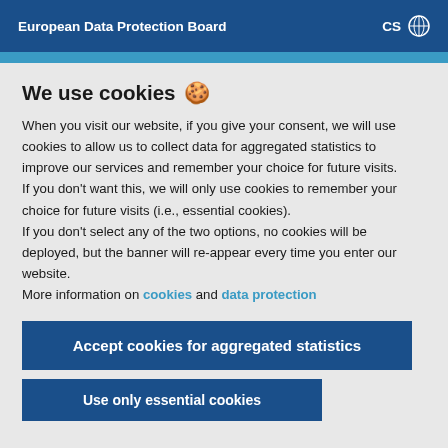European Data Protection Board   CS 🌐
We use cookies 🍪
When you visit our website, if you give your consent, we will use cookies to allow us to collect data for aggregated statistics to improve our services and remember your choice for future visits.
If you don't want this, we will only use cookies to remember your choice for future visits (i.e., essential cookies).
If you don't select any of the two options, no cookies will be deployed, but the banner will re-appear every time you enter our website.
More information on cookies and data protection
Accept cookies for aggregated statistics
Use only essential cookies